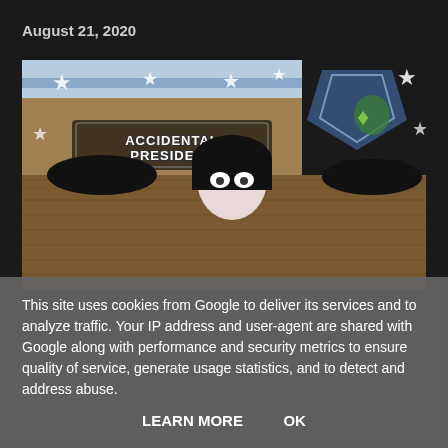August 21, 2020
[Figure (illustration): Banner image for 'Accidental President' — shows a stylized scene with stars, a patriotic flag-like background, a character with black hair and pale makeup, and a jester character. The 'Accidental President' logo is displayed in metallic text on the left side.]
This site uses cookies from Google to deliver its services and to analyze traffic. Your IP address and user-agent are shared with Google along with performance and security metrics to ensure quality of service, generate usage statistics, and to detect and address abuse.
LEARN MORE    OK